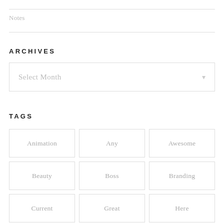Notes
ARCHIVES
[Figure (other): A dropdown selector widget labeled 'Select Month' with a downward arrow on the right.]
TAGS
Animation
Any
Awesome
Beauty
Boss
Branding
Current
Great
Here